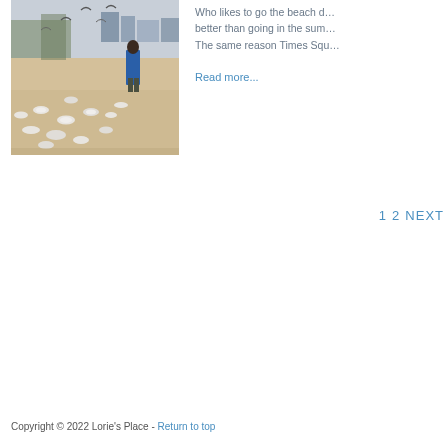[Figure (photo): A winter beach scene with many seagulls on sandy ground, a child in a blue jacket, and buildings visible in the background.]
Who likes to go the beach d… better than going in the sum… The same reason Times Squ…
Read more...
1  2  NEXT
Copyright © 2022 Lorie's Place - Return to top